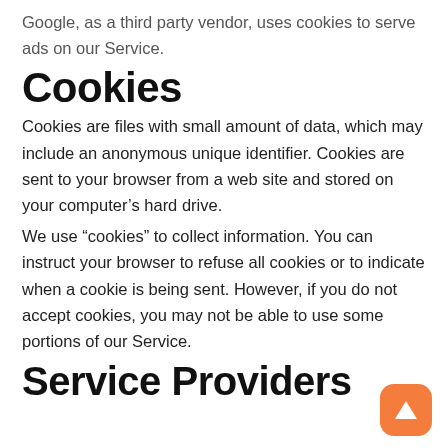Google, as a third party vendor, uses cookies to serve ads on our Service.
Cookies
Cookies are files with small amount of data, which may include an anonymous unique identifier. Cookies are sent to your browser from a web site and stored on your computer’s hard drive.
We use “cookies” to collect information. You can instruct your browser to refuse all cookies or to indicate when a cookie is being sent. However, if you do not accept cookies, you may not be able to use some portions of our Service.
Service Providers